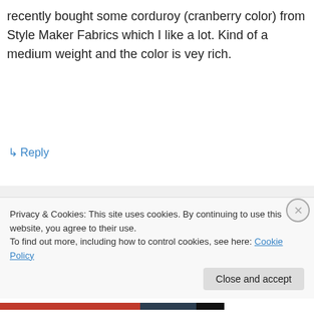recently bought some corduroy (cranberry color) from Style Maker Fabrics which I like a lot. Kind of a medium weight and the color is vey rich.
↳ Reply
LLADYBIRD on November 17, 2016 at 8:08 am
Oh, that's good to know! I love their fabrics, they always have such good stuff!
Privacy & Cookies: This site uses cookies. By continuing to use this website, you agree to their use.
To find out more, including how to control cookies, see here: Cookie Policy
Close and accept